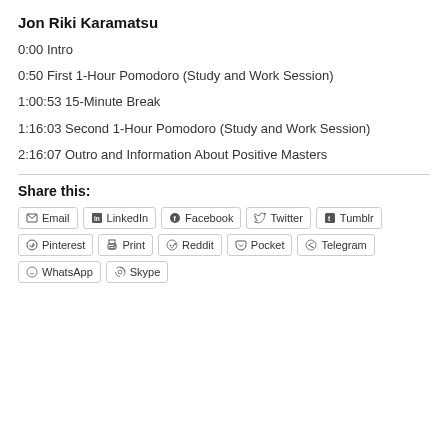Jon Riki Karamatsu
0:00 Intro
0:50 First 1-Hour Pomodoro (Study and Work Session)
1:00:53 15-Minute Break
1:16:03 Second 1-Hour Pomodoro (Study and Work Session)
2:16:07 Outro and Information About Positive Masters
Share this:
[Figure (infographic): Social sharing buttons: Email, LinkedIn, Facebook, Twitter, Tumblr, Pinterest, Print, Reddit, Pocket, Telegram, WhatsApp, Skype]